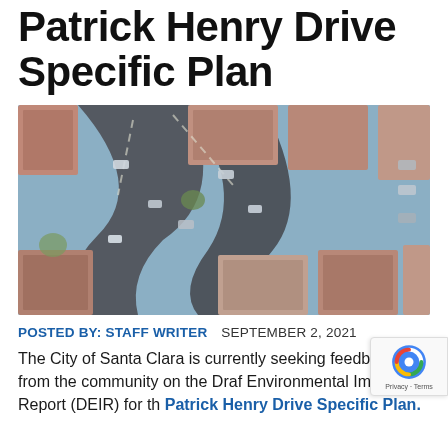Patrick Henry Drive Specific Plan
[Figure (photo): Aerial drone view of a curved residential street lined with houses and parked cars, showing rooftops and road from above]
POSTED BY: STAFF WRITER   SEPTEMBER 2, 2021
The City of Santa Clara is currently seeking feedback from the community on the Draft Environmental Impact Report (DEIR) for the Patrick Henry Drive Specific Plan.